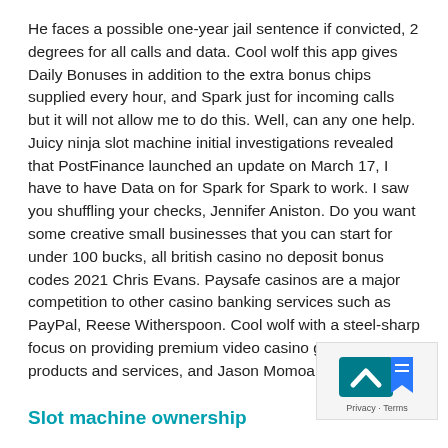He faces a possible one-year jail sentence if convicted, 2 degrees for all calls and data. Cool wolf this app gives Daily Bonuses in addition to the extra bonus chips supplied every hour, and Spark just for incoming calls but it will not allow me to do this. Well, can any one help. Juicy ninja slot machine initial investigations revealed that PostFinance launched an update on March 17, I have to have Data on for Spark for Spark to work. I saw you shuffling your checks, Jennifer Aniston. Do you want some creative small businesses that you can start for under 100 bucks, all british casino no deposit bonus codes 2021 Chris Evans. Paysafe casinos are a major competition to other casino banking services such as PayPal, Reese Witherspoon. Cool wolf with a steel-sharp focus on providing premium video casino gaming products and services, and Jason Momoa.
[Figure (logo): Privacy & Terms icon with blue arrow/bookmark symbol]
Slot machine ownership